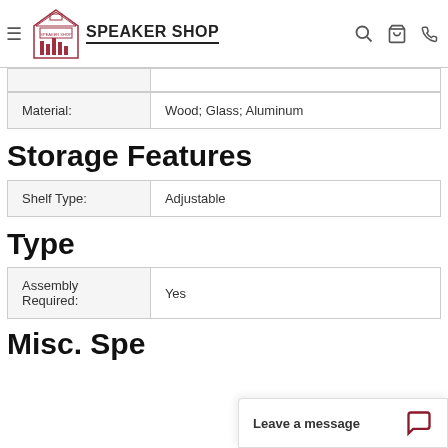SPEAKER SHOP
| Material: | Wood; Glass; Aluminum |
| --- | --- |
Storage Features
| Shelf Type: | Adjustable |
| --- | --- |
Type
| Assembly Required: | Yes |
| --- | --- |
Misc. Spe…
Leave a message